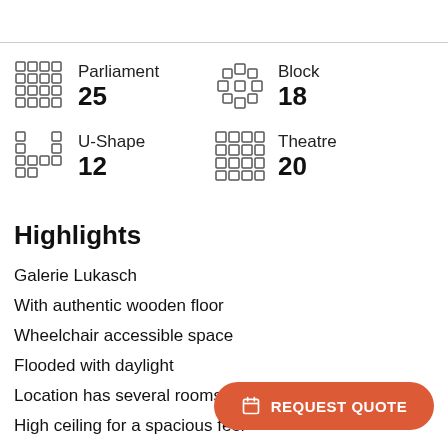Parliament 25
Block 18
U-Shape 12
Theatre 20
Highlights
Galerie Lukasch
With authentic wooden floor
Wheelchair accessible space
Flooded with daylight
Location has several rooms
High ceiling for a spacious feel
Be inspired by wall art
Breakout space for brainstorms